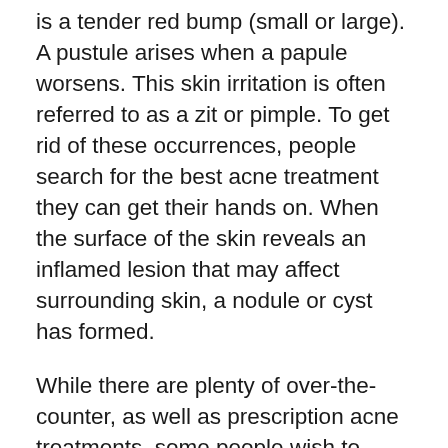is a tender red bump (small or large). A pustule arises when a papule worsens. This skin irritation is often referred to as a zit or pimple. To get rid of these occurrences, people search for the best acne treatment they can get their hands on. When the surface of the skin reveals an inflamed lesion that may affect surrounding skin, a nodule or cyst has formed.
While there are plenty of over-the-counter, as well as prescription acne treatments, some people wish to stray from the typical chemical or man-made approach to health and healing. For this individual, there are natural acne treatments to consider that take a more homeopathic approach towards dealing with an acne outbreak. Herbal remedies and other